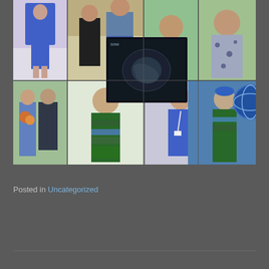[Figure (photo): A collage of multiple personal photos showing a woman in various outfits and settings, including blue dresses, a patterned green/blue dress, a formal gown, and what appears to be pregnancy photos. Also includes an ultrasound image. Photos are arranged in a 4-column, 2-row grid with an overlapping ultrasound image in the center.]
Posted in Uncategorized